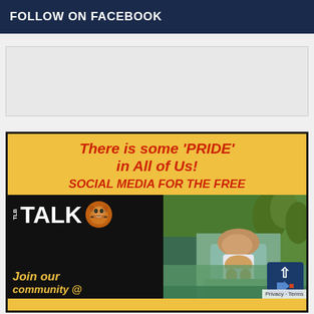FOLLOW ON FACEBOOK
[Figure (other): Advertisement placeholder box]
[Figure (infographic): Promotional image for TLB TALK social media platform. Yellow background with red italic text: 'There is some PRIDE in All of Us! SOCIAL MEDIA FOR THE FREE'. Bottom half shows TLB TALK logo on black background with lion icon (left) and a lion/nature scene (right). Text below logo reads 'Join our community @']